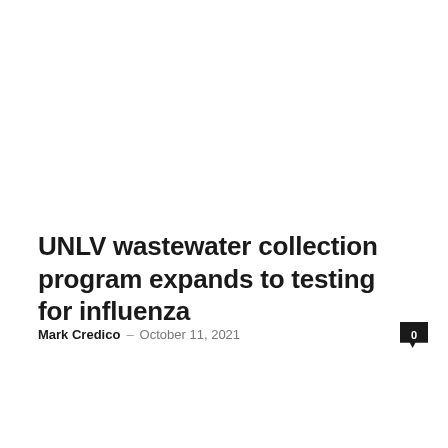UNLV wastewater collection program expands to testing for influenza
Mark Credico – October 11, 2021